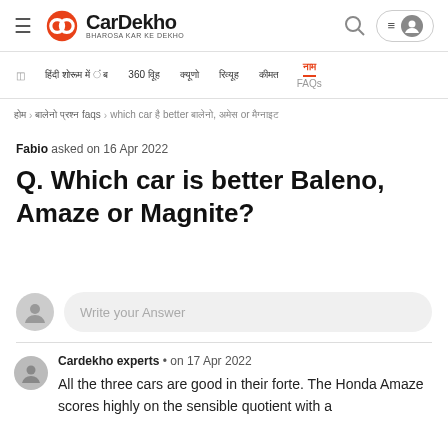CarDekho - BHAROSA KAR KE DEKHO
breadcrumb: होम > बालेनो प्रश्न faqs > which car है better बालेनो, अमेज or मैग्नाइट
Fabio asked on 16 Apr 2022
Q. Which car is better Baleno, Amaze or Magnite?
Write your Answer
Cardekho experts • on 17 Apr 2022
All the three cars are good in their forte. The Honda Amaze scores highly on the sensible quotient with a